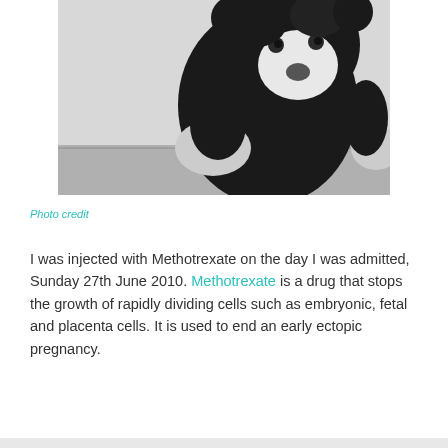[Figure (photo): Black and white photograph of a dark stuffed animal bear/monkey toy sitting against a wall on a floor, viewed from slightly above.]
Photo credit
I was injected with Methotrexate on the day I was admitted, Sunday 27th June 2010. Methotrexate is a drug that stops the growth of rapidly dividing cells such as embryonic, fetal and placenta cells. It is used to end an early ectopic pregnancy.